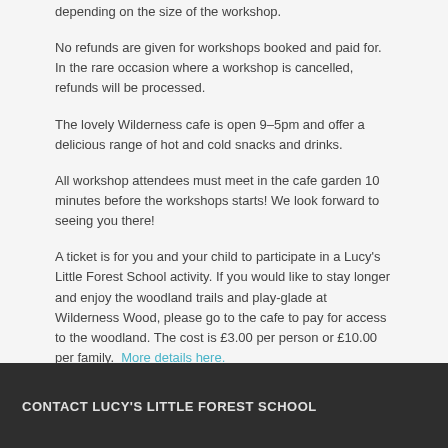depending on the size of the workshop.
No refunds are given for workshops booked and paid for. In the rare occasion where a workshop is cancelled, refunds will be processed.
The lovely Wilderness cafe is open 9–5pm and offer a delicious range of hot and cold snacks and drinks.
All workshop attendees must meet in the cafe garden 10 minutes before the workshops starts! We look forward to seeing you there!
A ticket is for you and your child to participate in a Lucy's Little Forest School activity. If you would like to stay longer and enjoy the woodland trails and play-glade at Wilderness Wood, please go to the cafe to pay for access to the woodland. The cost is £3.00 per person or £10.00 per family.  More details here.
CONTACT LUCY'S LITTLE FOREST SCHOOL